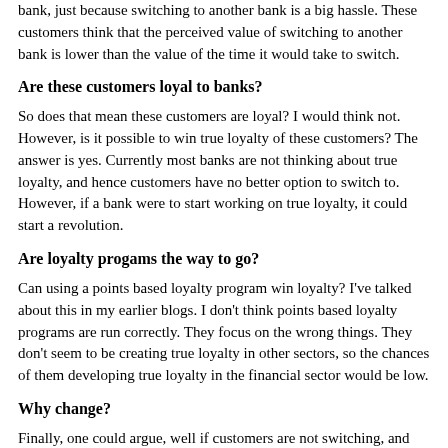bank, just because switching to another bank is a big hassle. These customers think that the perceived value of switching to another bank is lower than the value of the time it would take to switch.
Are these customers loyal to banks?
So does that mean these customers are loyal?  I would think not. However, is it possible to win true loyalty of these customers?  The answer is yes.  Currently most banks are not thinking about true loyalty, and hence customers have no better option to switch to. However, if a bank were to start working on true loyalty, it could start a revolution.
Are loyalty progams the way to go?
Can using a points based loyalty program win loyalty?  I've talked about this in my earlier blogs.  I don't think points based loyalty programs are run correctly.  They focus on the wrong things.  They don't seem to be creating true loyalty in other sectors, so the chances of them developing true loyalty in the financial sector would be low.
Why change?
Finally, one could argue, well if customers are not switching, and they don't want to switch then why should we worry about bank? And they can use financial institutions, and right...